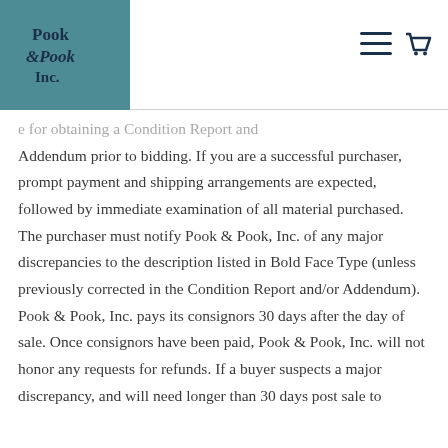[Figure (logo): Pook & Pook Inc. logo on teal/dark cyan square background]
...e for obtaining a Condition Report and Addendum prior to bidding. If you are a successful purchaser, prompt payment and shipping arrangements are expected, followed by immediate examination of all material purchased. The purchaser must notify Pook & Pook, Inc. of any major discrepancies to the description listed in Bold Face Type (unless previously corrected in the Condition Report and/or Addendum). Pook & Pook, Inc. pays its consignors 30 days after the day of sale. Once consignors have been paid, Pook & Pook, Inc. will not honor any requests for refunds. If a buyer suspects a major discrepancy, and will need longer than 30 days post sale to